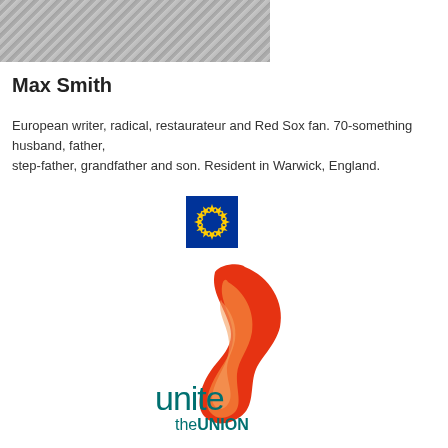[Figure (photo): Grayscale photo of people at a table, appears to be a social gathering or restaurant scene]
Max Smith
European writer, radical, restaurateur and Red Sox fan. 70-something husband, father, step-father, grandfather and son. Resident in Warwick, England.
[Figure (logo): European Union flag — blue square with circle of gold stars]
[Figure (logo): Unite the Union logo — red flame/wave shape above teal text reading 'unite the UNION']